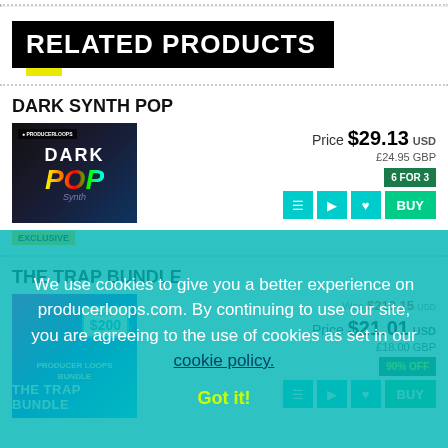RELATED PRODUCTS
DARK SYNTH POP
Price $29.13 USD
£24.95 GBP
6 FOR 3
EXCLUSIVE
THE TRAP BUNDLE
Was $210.15 USD
Price $21.01 USD
£18.00 GBP
90% OFF
We use cookies to give you a better experience on producerloops.com. By continuing to use our site, you are agreeing to the use of cookies as set in our cookie policy.
Got it!